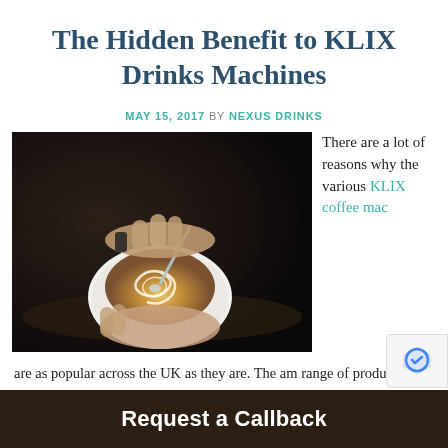The Hidden Benefit to KLIX Drinks Machines
MAY 15, 2017 BY NEXUS DRINKS
[Figure (photo): A hand holding a white cup of latte art coffee being stirred with a spoon, swirling cream pattern on top, dark background]
There are a lot of reasons why the various KLIX coffee mac...
are as popular across the UK as they are. The am range of products,